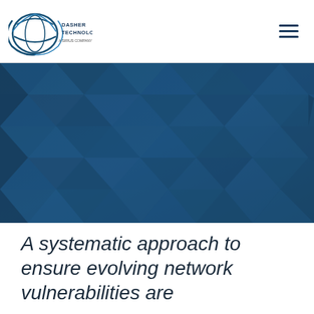Dasher Technologies
[Figure (photo): Blue geometric triangular faceted surface pattern used as a decorative hero image background]
A systematic approach to ensure evolving network vulnerabilities are